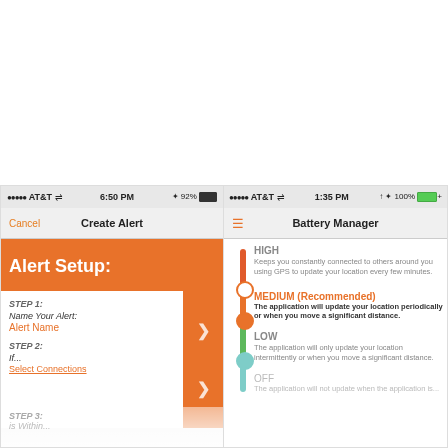[Figure (screenshot): Two mobile app screenshots side by side. Left: iOS app 'Create Alert' screen showing Alert Setup with Step 1 (Name Your Alert: Alert Name) and Step 2 (If... Select Connections) with orange navigation elements. Right: iOS app 'Battery Manager' screen showing HIGH, MEDIUM (Recommended), LOW, and OFF power options with a vertical colored bar indicator.]